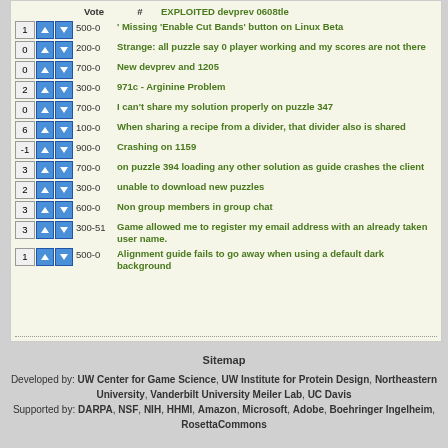Vote # EXPLOITED devprev 0608tle
1 500-0 ' Missing 'Enable Cut Bands' button on Linux Beta
0 200-0 Strange: all puzzle say 0 player working and my scores are not there
0 700-0 New devprev and 1205
2 300-0 971c - Arginine Problem
0 700-0 I can't share my solution properly on puzzle 347
6 100-0 When sharing a recipe from a divider, that divider also is shared
-1 900-0 Crashing on 1159
3 700-0 on puzzle 394 loading any other solution as guide crashes the client
2 300-0 unable to download new puzzles
3 600-0 Non group members in group chat
3 300-51 Game allowed me to register my email address with an already taken user name.
1 500-0 Alignment guide fails to go away when using a default dark background
Sitemap
Developed by: UW Center for Game Science, UW Institute for Protein Design, Northeastern University, Vanderbilt University Meiler Lab, UC Davis Supported by: DARPA, NSF, NIH, HHMI, Amazon, Microsoft, Adobe, Boehringer Ingelheim, RosettaCommons